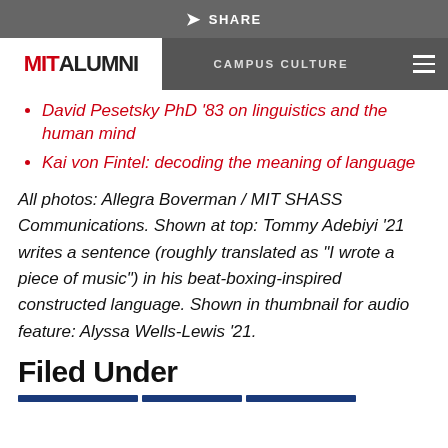SHARE
MIT ALUMNI | CAMPUS CULTURE
David Pesetsky PhD '83 on linguistics and the human mind
Kai von Fintel: decoding the meaning of language
All photos: Allegra Boverman / MIT SHASS Communications. Shown at top: Tommy Adebiyi '21 writes a sentence (roughly translated as "I wrote a piece of music") in his beat-boxing-inspired constructed language. Shown in thumbnail for audio feature: Alyssa Wells-Lewis '21.
Filed Under